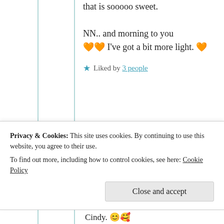that is sooooo sweet.

NN.. and morning to you 🧡🧡 I've got a bit more light. 🧡
★ Liked by 3 people
Suma Reddy
9th Jun 2021 at 3:34 am
Privacy & Cookies: This site uses cookies. By continuing to use this website, you agree to their use.
To find out more, including how to control cookies, see here: Cookie Policy
Close and accept
Cindy. 🙂🤗